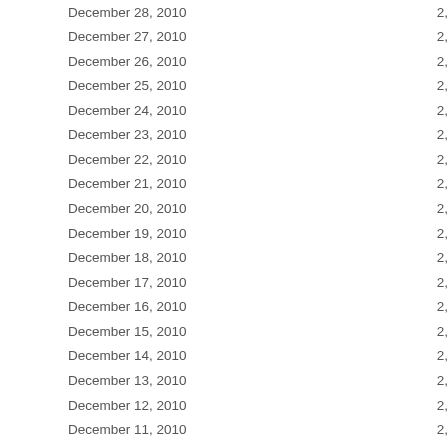| Date | Value |
| --- | --- |
| December 28, 2010 | 2, |
| December 27, 2010 | 2, |
| December 26, 2010 | 2, |
| December 25, 2010 | 2, |
| December 24, 2010 | 2, |
| December 23, 2010 | 2, |
| December 22, 2010 | 2, |
| December 21, 2010 | 2, |
| December 20, 2010 | 2, |
| December 19, 2010 | 2, |
| December 18, 2010 | 2, |
| December 17, 2010 | 2, |
| December 16, 2010 | 2, |
| December 15, 2010 | 2, |
| December 14, 2010 | 2, |
| December 13, 2010 | 2, |
| December 12, 2010 | 2, |
| December 11, 2010 | 2, |
| December 10, 2010 | 2, |
| December 9, 2010 | 2, |
| December 8, 2010 | 2, |
| December 7, 2010 | 2, |
| December 6, 2010 | 2, |
| December 5, 2010 | 2, |